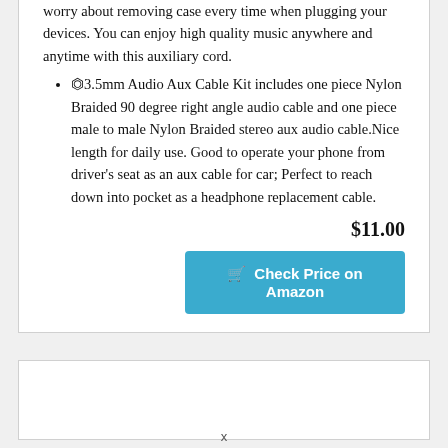worry about removing case every time when plugging your devices. You can enjoy high quality music anywhere and anytime with this auxiliary cord.
⏣3.5mm Audio Aux Cable Kit includes one piece Nylon Braided 90 degree right angle audio cable and one piece male to male Nylon Braided stereo aux audio cable.Nice length for daily use. Good to operate your phone from driver’s seat as an aux cable for car; Perfect to reach down into pocket as a headphone replacement cable.
$11.00
Check Price on Amazon